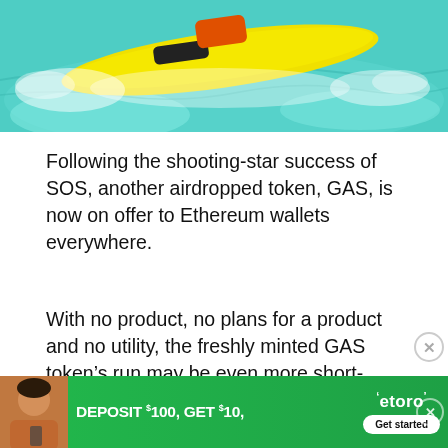[Figure (photo): Action photo of a yellow surfboard or kayak skimming across bright turquoise water with splashing waves]
Following the shooting-star success of SOS, another airdropped token, GAS, is now on offer to Ethereum wallets everywhere.
With no product, no plans for a product and no utility, the freshly minted GAS token’s run may be even more short-lived, however.
[Figure (other): eToro advertisement banner: DEPOSIT $100, GET $10, with Get started button and woman holding phone]